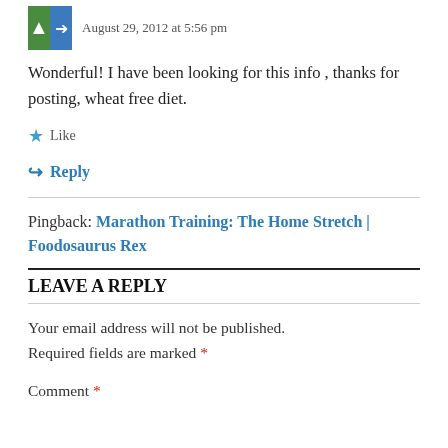August 29, 2012 at 5:56 pm
Wonderful! I have been looking for this info , thanks for posting, wheat free diet.
Like
Reply
Pingback: Marathon Training: The Home Stretch | Foodosaurus Rex
LEAVE A REPLY
Your email address will not be published. Required fields are marked *
Comment *